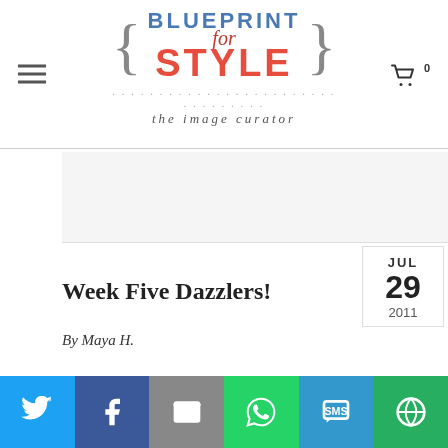Blueprint for Style - the image curator
[Figure (logo): Blueprint for Style logo with curly brackets, blue and orange/red text, tagline 'the image curator']
Week Five Dazzlers!
By Maya H.
Every week in July, Blueprint for Style in conjunction with ShoeDazzle is giving away two pair of shoes to two...